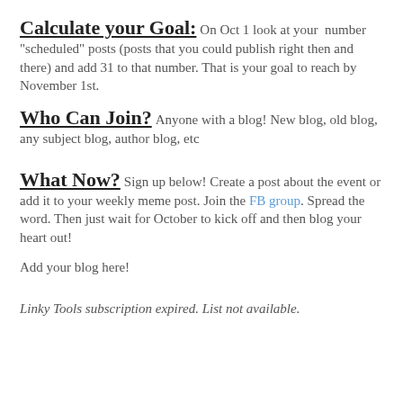Calculate your Goal: On Oct 1 look at your number "scheduled" posts (posts that you could publish right then and there) and add 31 to that number. That is your goal to reach by November 1st.
Who Can Join? Anyone with a blog! New blog, old blog, any subject blog, author blog, etc
What Now? Sign up below! Create a post about the event or add it to your weekly meme post. Join the FB group. Spread the word. Then just wait for October to kick off and then blog your heart out!
Add your blog here!
Linky Tools subscription expired. List not available.